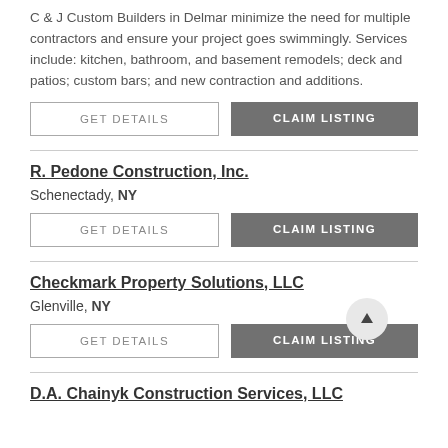C & J Custom Builders in Delmar minimize the need for multiple contractors and ensure your project goes swimmingly. Services include: kitchen, bathroom, and basement remodels; deck and patios; custom bars; and new contraction and additions.
GET DETAILS | CLAIM LISTING
R. Pedone Construction, Inc.
Schenectady, NY
GET DETAILS | CLAIM LISTING
Checkmark Property Solutions, LLC
Glenville, NY
GET DETAILS | CLAIM LISTING
D.A. Chainyk Construction Services, LLC